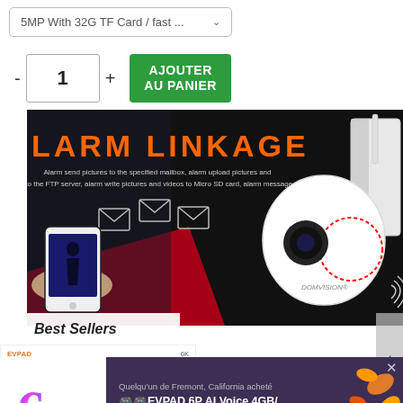5MP With 32G TF Card / fast ...
- 1 +
AJOUTER AU PANIER
[Figure (photo): ALARM LINKAGE promotional banner showing a security camera (DOMVISION brand) with PTZ dome design mounted on a wall bracket, a hand holding a smartphone displaying a security feed, envelope/email notification icons, and text: 'ALARM LINKAGE - Alarm send pictures to the specified mailbox, alarm upload pictures and videos to the FTP server, alarm write pictures and videos to Micro SD card, alarm message push.']
Best Sellers
[Figure (photo): EVPAD 6P AI Voice TV box product card showing the number 6 in colorful gradient, labeled EVPAD 6K at top]
Quelqu'un de Fremont, California acheté
🎮🎮EVPAD 6P AI Voice 4GB/...
4 HEURES IL Y A